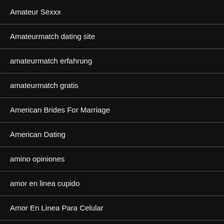Amateur Sexxx
Amateurmatch dating site
amateurmatch erfahrung
amateurmatch gratis
American Brides For Marriage
American Dating
amino opiniones
amor en linea cupido
Amor En Linea Para Celular
amor en linea promo codes
amor en linea review
amor-en-linea review
amorenlinea reddit